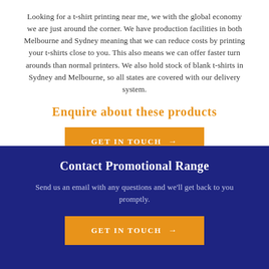Looking for a t-shirt printing near me, we with the global economy we are just around the corner. We have production facilities in both Melbourne and Sydney meaning that we can reduce costs by printing your t-shirts close to you. This also means we can offer faster turn arounds than normal printers. We also hold stock of blank t-shirts in Sydney and Melbourne, so all states are covered with our delivery system.
Enquire about these products
GET IN TOUCH →
Contact Promotional Range
Send us an email with any questions and we'll get back to you promptly.
GET IN TOUCH →